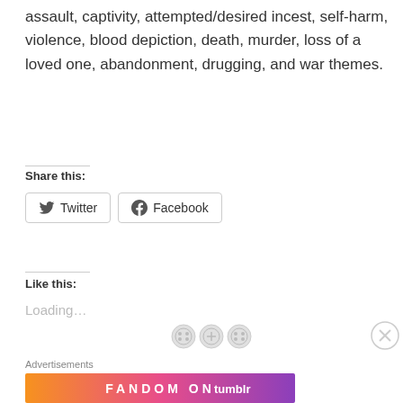assault, captivity, attempted/desired incest, self-harm, violence, blood depiction, death, murder, loss of a loved one, abandonment, drugging, and war themes.
Share this:
[Figure (other): Twitter and Facebook share buttons]
Like this:
Loading...
[Figure (other): Decorative dashed divider with sewing button icons and close button]
Advertisements
[Figure (other): Fandom on Tumblr advertisement banner with orange-purple gradient background]